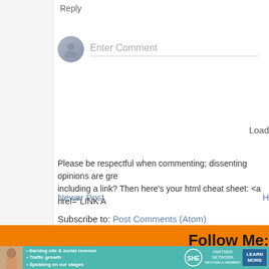Reply
Enter Comment
Load
Please be respectful when commenting; dissenting opinions are gre including a link? Then here's your html cheat sheet: <a href="LINK A
Newer Post
H
Subscribe to: Post Comments (Atom)
Follow Me:
[Figure (infographic): SHE Partner Network advertisement banner with photo of woman, bullet points: Earning site & social revenue, Traffic growth, Speaking on our stages, SHE logo, LEARN MORE button]